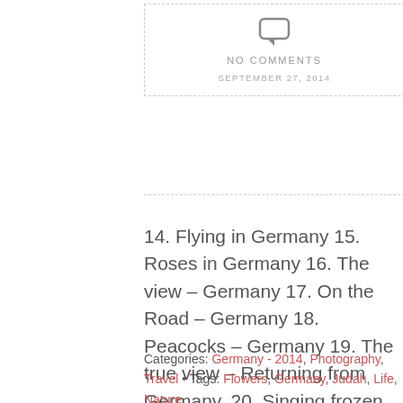[Figure (other): Speech bubble / comment icon in gray]
NO COMMENTS
SEPTEMBER 27, 2014
14. Flying in Germany 15. Roses in Germany 16. The view – Germany 17. On the Road – Germany 18. Peacocks – Germany 19. The true view – Returning from Germany. 20. Singing frozen into the webcam.
Categories: Germany - 2014, Photography, Travel • Tags: Flowers, Germany, Judah, Life, Nature, Photography •